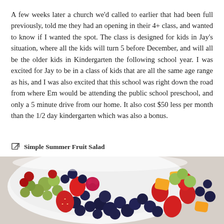A few weeks later a church we'd called to earlier that had been full previously, told me they had an opening in their 4+ class, and wanted to know if I wanted the spot. The class is designed for kids in Jay's situation, where all the kids will turn 5 before December, and will all be the older kids in Kindergarten the following school year. I was excited for Jay to be in a class of kids that are all the same age range as his, and I was also excited that this school was right down the road from where Em would be attending the public school preschool, and only a 5 minute drive from our home. It also cost $50 less per month than the 1/2 day kindergarten which was also a bonus.
Simple Summer Fruit Salad
[Figure (photo): A white bowl filled with a colorful fruit salad including blueberries, strawberries, green grapes, and other mixed fruits, viewed from above on a white marble surface.]